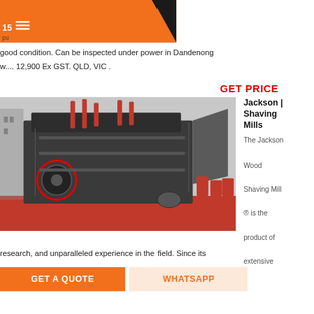15
pu
good condition. Can be inspected under power in Dandenong
w.... 12,900 Ex GST. QLD, VIC .
GET PRICE
[Figure (photo): Large industrial machine (shredder or hammer mill) mounted on a red flatbed transport vehicle, with a red circle highlighting a component on the left side.]
Jackson | Shaving Mills
The Jackson Wood Shaving Mill ® is the product of extensive
research, and unparalleled experience in the field. Since its
GET A QUOTE
WHATSAPP